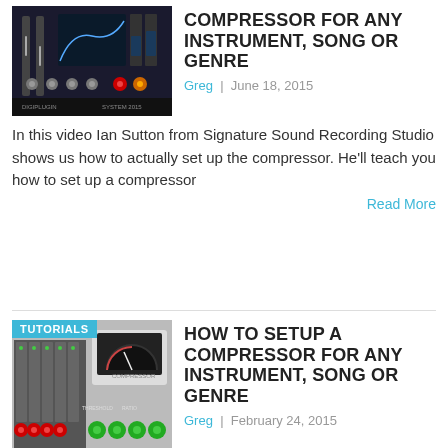[Figure (screenshot): Screenshot of a digital audio compressor plugin interface with sliders, knobs, and a frequency display graph]
COMPRESSOR FOR ANY INSTRUMENT, SONG OR GENRE
Greg  |  June 18, 2015
In this video Ian Sutton from Signature Sound Recording Studio shows us how to actually set up the compressor. He'll teach you how to set up a compressor
Read More
[Figure (screenshot): Screenshot of an analog compressor hardware unit with a large VU meter and mixing console faders with red and green knobs, with TUTORIALS badge overlay]
HOW TO SETUP A COMPRESSOR FOR ANY INSTRUMENT, SONG OR GENRE
Greg  |  February 24, 2015
In this video the guys at http://signaturesound.com/ is going to show you how to setup a compressor for any instrument, song, or genre and its actually a very